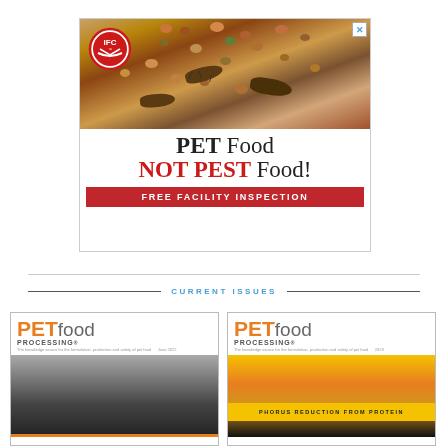[Figure (illustration): IFC pest control advertisement: photo of cockroaches on pet food kibble with IFC logo, text 'PET Food NOT PEST Food!' and red banner 'FREE FACILITY INSPECTION']
CURRENT ISSUES
[Figure (photo): PET food Processing magazine cover, June 2022 issue]
[Figure (photo): PET food Processing magazine cover, 2023 issue with protein feature]